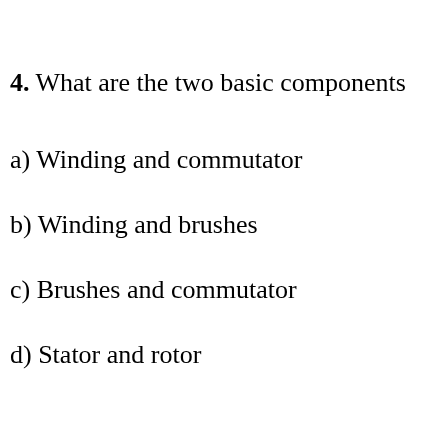4. What are the two basic components
a)  Winding and commutator
b)  Winding and brushes
c)  Brushes and commutator
d)  Stator and rotor